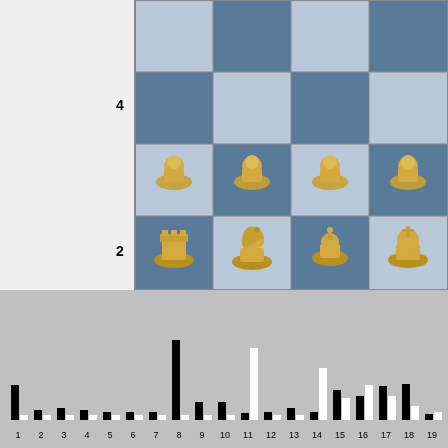[Figure (photo): Partial chess board showing rows 1-4 with white/gold chess pieces (rooks, knights, bishops, king visible in rank 1; pawns in rank 2). Blue and white marble checkered pattern. Row numbers 4 and 2 labeled on left side.]
[Figure (bar-chart): ]